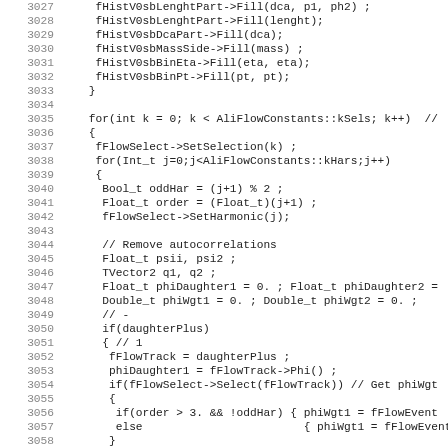[Figure (screenshot): Source code listing showing C++ code lines 3027-3059, including histogram fill operations, a for loop over AliFlowConstants::kSels, nested loop over AliFlowConstants::kHars, variable declarations, autocorrelation removal comments, and conditional logic for daughterPlus track selection and phiWgt calculations.]